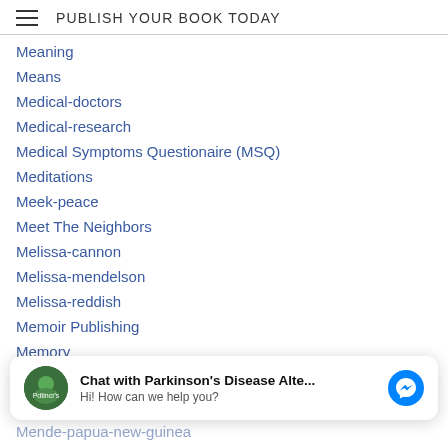PUBLISH YOUR BOOK TODAY
Meaning
Means
Medical-doctors
Medical-research
Medical Symptoms Questionaire (MSQ)
Meditations
Meek-peace
Meet The Neighbors
Melissa-cannon
Melissa-mendelson
Melissa-reddish
Memoir Publishing
Memory
Memory Exercises
[Figure (other): Facebook Messenger chat widget overlay: avatar of Parkinson's Disease Alte... page, bold text 'Chat with Parkinson's Disease Alte...', subtitle 'Hi! How can we help you?', blue messenger icon button]
Mende-papua-new-guinea